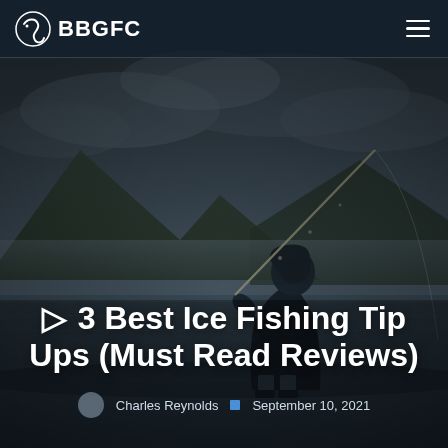BBGFC
[Figure (photo): Person standing at a lake shore holding a fishing rod, with mountains and cloudy sky in background. Moody, dark-toned outdoor fishing scene.]
▷ 3 Best Ice Fishing Tip Ups (Must Read Reviews)
Charles Reynolds · September 10, 2021